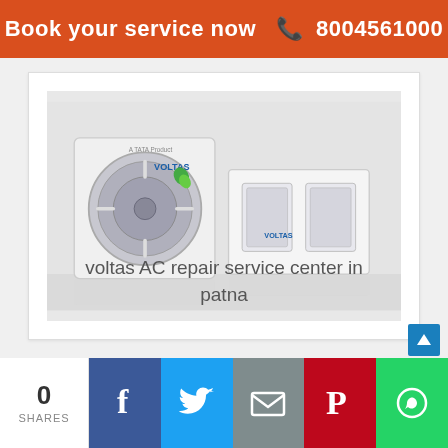Book your service now ☎ 8004561000
[Figure (photo): Voltas AC outdoor unit (compressor) and indoor ducted unit, both white, with Voltas branding and a green leaf logo]
voltas AC repair service center in patna
0 SHARES | Facebook | Twitter | Email | Pinterest | WhatsApp